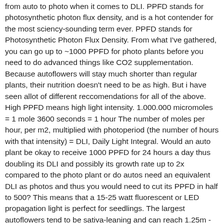from auto to photo when it comes to DLI. PPFD stands for photosynthetic photon flux density, and is a hot contender for the most sciency-sounding term ever. PPFD stands for Photosynthetic Photon Flux Density. From what I've gathered, you can go up to ~1000 PPFD for photo plants before you need to do advanced things like CO2 supplementation. Because autoflowers will stay much shorter than regular plants, their nutrition doesn't need to be as high. But i have seen allot of different reccomendations for all of the above. High PPFD means high light intensity. 1.000.000 micromoles = 1 mole 3600 seconds = 1 hour The number of moles per hour, per m2, multiplied with photoperiod (the number of hours with that intensity) = DLI, Daily Light Integral. Would an auto plant be okay to receive 1000 PPFD for 24 hours a day thus doubling its DLI and possibly its growth rate up to 2x compared to the photo plant or do autos need an equivalent DLI as photos and thus you would need to cut its PPFD in half to 500? This means that a 15-25 watt fluorescent or LED propagation light is perfect for seedlings. The largest autoflowers tend to be sativa-leaning and can reach 1.25m - 1.75m tall. What is your average DLI and VPD throughout the growth. The PPFD value in the center, 719 umol/m2/s, is high enough to stimulate photosynthesis in flowering weed plants, but the light coverage area is rather poor.